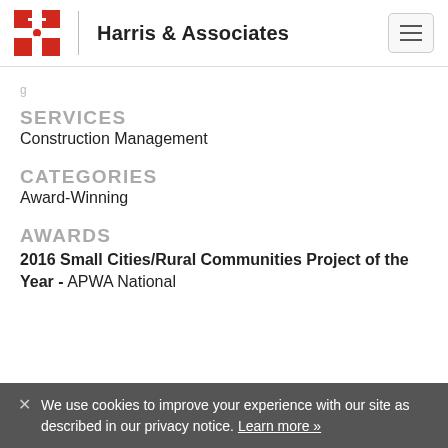Harris & Associates
SERVICES
Construction Management
CATEGORIES
Award-Winning
AWARDS
2016 Small Cities/Rural Communities Project of the Year - APWA National
We use cookies to improve your experience with our site as described in our privacy notice. Learn more »